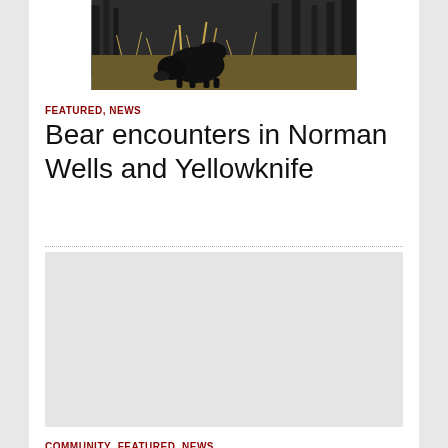[Figure (photo): Black bear foraging in dry grass and brush near trees, photographed from a distance]
FEATURED, NEWS
Bear encounters in Norman Wells and Yellowknife
[Figure (other): Gray placeholder rectangle for a second article image]
COMMUNITY, FEATURED, NEWS